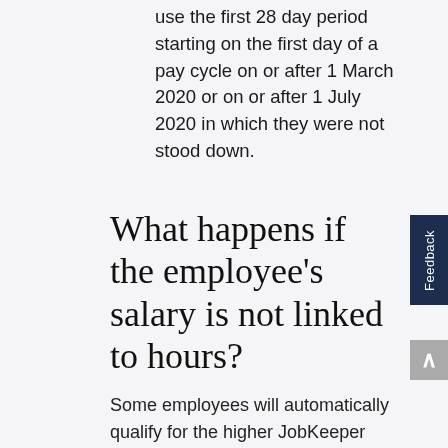use the first 28 day period starting on the first day of a pay cycle on or after 1 March 2020 or on or after 1 July 2020 in which they were not stood down.
What happens if the employee's salary is not linked to hours?
Some employees will automatically qualify for the higher JobKeeper payment rate. To qualify for the higher rate, these employees: were paid at least $1,500 in the reference period; were required to work at least 80 hours under an industrial award, enterprise agreement or contract; or, it is reasonable to assume that they worked at least 80